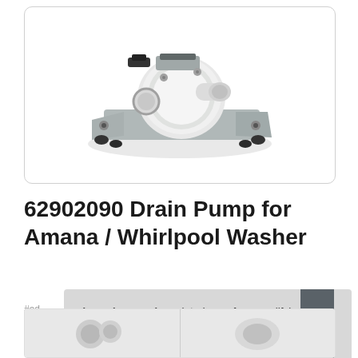[Figure (photo): Product photo of a drain pump component (62902090) for Amana/Whirlpool washer, showing a white plastic pump assembly on a gray metal bracket with black rubber feet, set against a white background inside a rounded rectangle border.]
62902090 Drain Pump for Amana / Whirlpool Washer
#ad
As an Amazon Associate I earn from qualifying purchases. This website uses the only necessary cookies to ensure you get the best experience on our website. More information
[Figure (photo): Partial view of thumbnail product images at the bottom of the page.]